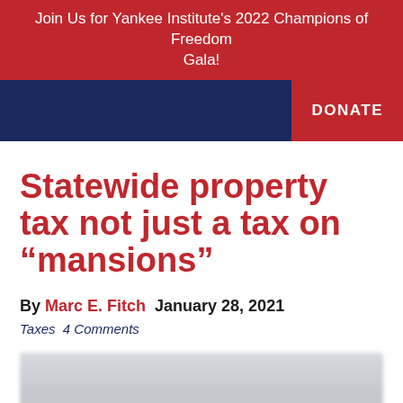Join Us for Yankee Institute's 2022 Champions of Freedom Gala!
Statewide property tax not just a tax on “mansions”
By Marc E. Fitch  January 28, 2021
Taxes  4 Comments
[Figure (photo): Blurred/obscured photograph, likely a house or property image related to the article about statewide property tax]